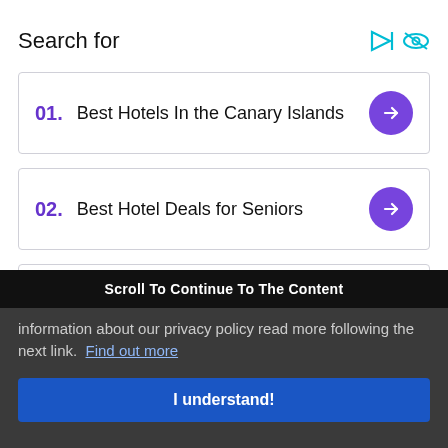Search for
01.  Best Hotels In the Canary Islands
02.  Best Hotel Deals for Seniors
Scroll To Continue To The Content
information about our privacy policy read more following the next link.  Find out more
I understand!
The theme for 2020 was dedicated to imagination and